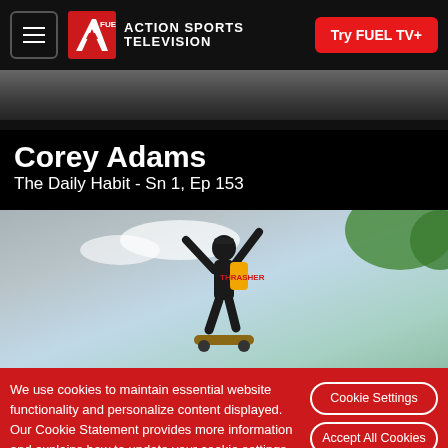FUEL TV - ACTION SPORTS TELEVISION | Try FUEL TV+
[Figure (photo): Top partial view of a skateboard ramp or concrete surface, dark and blurred]
Corey Adams
The Daily Habit - Sn 1, Ep 153
[Figure (photo): Skateboarder photographed from below against a blue sky, mid-trick with arms raised, wearing dark clothes and a backpack]
We use cookies to maintain essential website functionality and personalize content displayed. Our Cookie Statement provides more information and explains how to update your cookie settings. View our Cookie Statement.